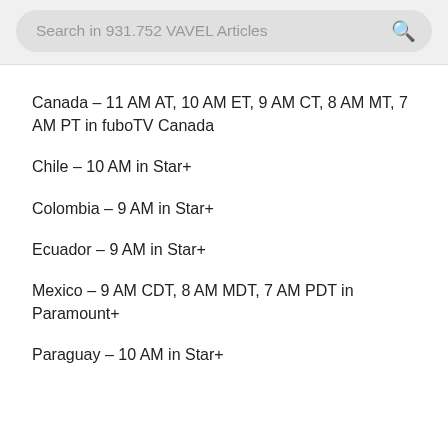Search in 931.752 VAVEL Articles
Canada – 11 AM AT, 10 AM ET, 9 AM CT, 8 AM MT, 7 AM PT in fuboTV Canada
Chile – 10 AM in Star+
Colombia – 9 AM in Star+
Ecuador – 9 AM in Star+
Mexico – 9 AM CDT, 8 AM MDT, 7 AM PDT in Paramount+
Paraguay – 10 AM in Star+